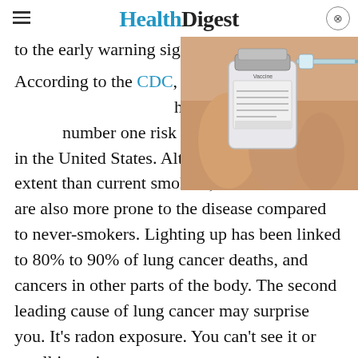HealthDigest
to the early warning sig…
[Figure (photo): A hand holding a vaccine vial with a syringe, close-up shot.]
According to the CDC, … highest risk. Cigarette … number one risk factor for lung cancer in the United States. Although to a lesser extent than current smokers, former smokers are also more prone to the disease compared to never-smokers. Lighting up has been linked to 80% to 90% of lung cancer deaths, and cancers in other parts of the body. The second leading cause of lung cancer may surprise you. It's radon exposure. You can't see it or smell it, so it …